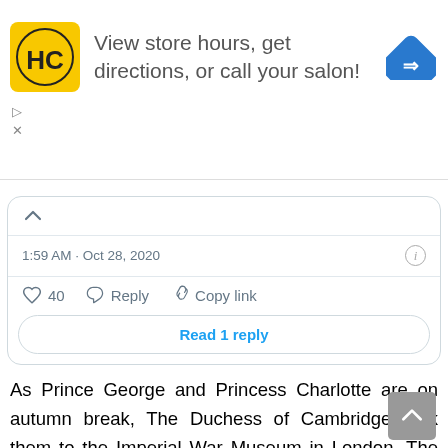[Figure (screenshot): Advertisement banner for HC (Hair Club) salon with yellow logo, text 'View store hours, get directions, or call your salon!' and blue navigation arrow icon. Below the ad are play and close controls.]
[Figure (screenshot): Tweet card showing timestamp '1:59 AM · Oct 28, 2020', like count of 40, Reply and Copy link actions, and a 'Read 1 reply' button.]
As Prince George and Princess Charlotte are on autumn break, The Duchess of Cambridge took them to the Imperial War Museum in London. The Imperial War Museum tells the story of WWI and it's very thoughtful on Catherine's behalf to take children to visit the Museum when the UK is getting ready to pay tribute to those who gave their lives in Wars.